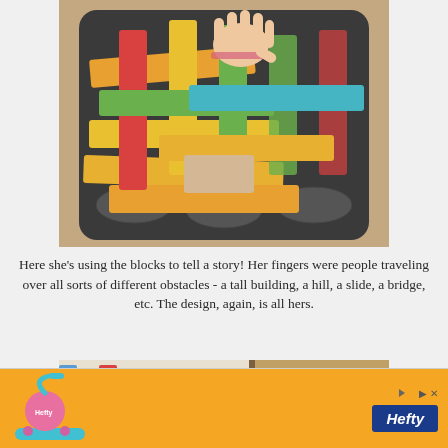[Figure (photo): A child's hand placing colorful wooden blocks in an interlocking woven pattern inside a dark muffin/baking tray. The blocks are in yellow, green, orange, red, blue, and natural wood colors, arranged in a basket-weave style pattern.]
Here she's using the blocks to tell a story!  Her fingers were people traveling over all sorts of different obstacles - a tall building, a hill, a slide, a bridge, etc.  The design, again, is all hers.
[Figure (photo): Partial view of colorful wooden blocks and what appears to be books or flat items leaning against a wall or surface, partially cut off at the bottom of the page.]
[Figure (advertisement): Hefty brand advertisement with orange background, showing a pink and blue vacuum/cleaning product on the left, and the Hefty logo in blue on the right, with a play button and X close button at top right.]